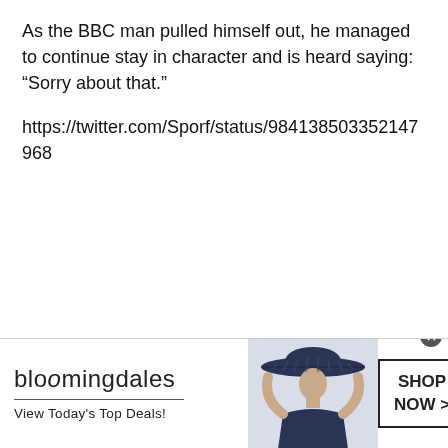As the BBC man pulled himself out, he managed to continue stay in character and is heard saying: “Sorry about that.”
https://twitter.com/Sporf/status/984138503352147968
[Figure (infographic): Bloomingdale's advertisement banner with logo, 'View Today's Top Deals!' tagline, a model wearing a wide-brim hat, and a 'SHOP NOW >' button]